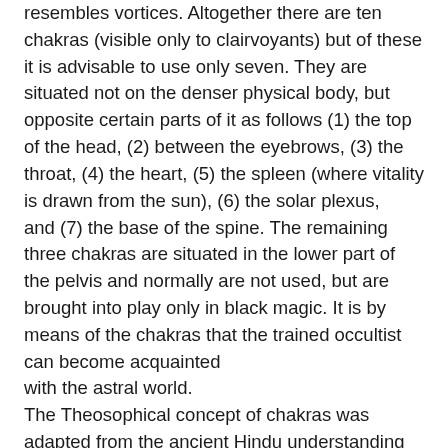resembles vortices. Altogether there are ten chakras (visible only to clairvoyants) but of these it is advisable to use only seven. They are situated not on the denser physical body, but opposite certain parts of it as follows (1) the top of the head, (2) between the eyebrows, (3) the throat, (4) the heart, (5) the spleen (where vitality is drawn from the sun), (6) the solar plexus, and (7) the base of the spine. The remaining three chakras are situated in the lower part of the pelvis and normally are not used, but are brought into play only in black magic. It is by means of the chakras that the trained occultist can become acquainted with the astral world. The Theosophical concept of chakras was adapted from the ancient Hindu understanding of kundalini, a cosmic energy believed to be latent in the human organism responsible for sexual activity and also conditions of higher consciousness. The Hindu mystics pictured kundalini as a coiled serpent situated